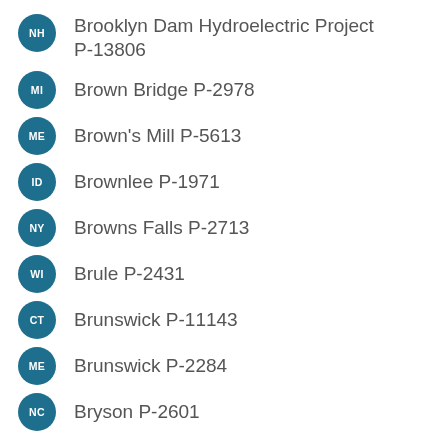NH — Brooklyn Dam Hydroelectric Project P-13806
MI — Brown Bridge P-2978
ME — Brown's Mill P-5613
ID — Brownlee P-1971
NY — Browns Falls P-2713
WI — Brule P-2431
CT — Brunswick P-11143
ME — Brunswick P-2284
NC — Bryson P-2601